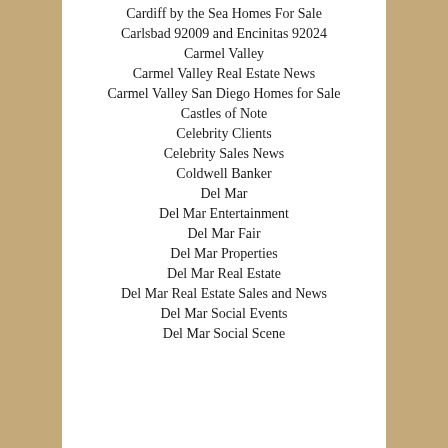Cardiff by the Sea Homes For Sale
Carlsbad 92009 and Encinitas 92024
Carmel Valley
Carmel Valley Real Estate News
Carmel Valley San Diego Homes for Sale
Castles of Note
Celebrity Clients
Celebrity Sales News
Coldwell Banker
Del Mar
Del Mar Entertainment
Del Mar Fair
Del Mar Properties
Del Mar Real Estate
Del Mar Real Estate Sales and News
Del Mar Social Events
Del Mar Social Scene